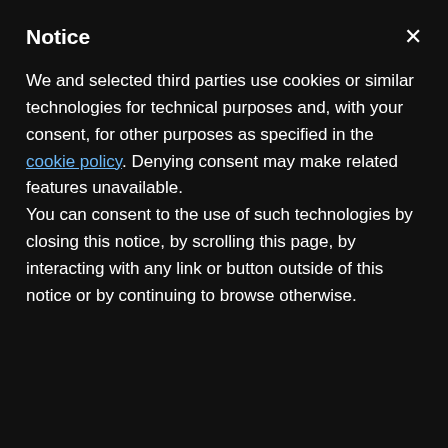Notice
We and selected third parties use cookies or similar technologies for technical purposes and, with your consent, for other purposes as specified in the cookie policy. Denying consent may make related features unavailable.
You can consent to the use of such technologies by closing this notice, by scrolling this page, by interacting with any link or button outside of this notice or by continuing to browse otherwise.
...played their first Saturday's results, looked like a finely honed postseason team Sunday night in what has been an inconsistent season.
The hosts scored on either side of halftime as they held [off] the Philadelphia Union to register a 2-0 MLS victory
[Figure (screenshot): Advertisement banner: Order a 6-Pack or Party Box - Crumbl Cookies - Ashburn. Black square icon with chef/cookie logo on left, text in center, blue navigation arrow icon on right.]